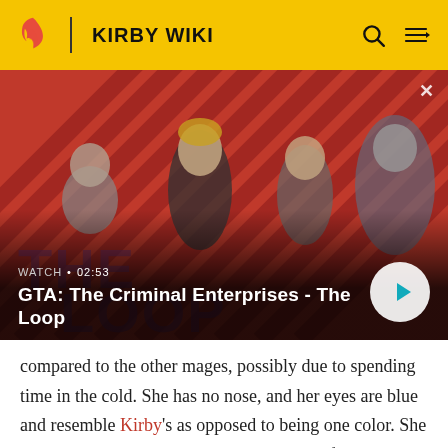KIRBY WIKI
[Figure (screenshot): GTA: The Criminal Enterprises - The Loop video thumbnail with four characters standing on a red diagonal-stripe background. Overlay shows WATCH • 02:53 label, video title, and a white play button circle.]
compared to the other mages, possibly due to spending time in the cold. She has no nose, and her eyes are blue and resemble Kirby's as opposed to being one color. She also has blue markings curving downward from the bottom of her eyes. She wears a dark purple beret with a